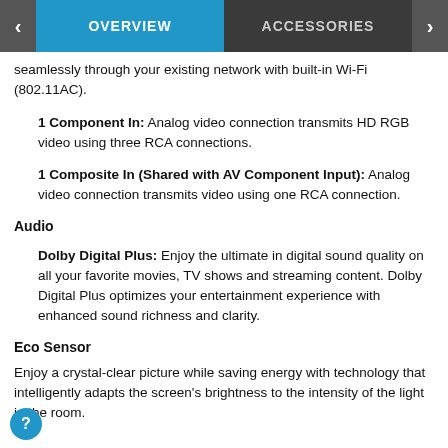OVERVIEW | ACCESSORIES
seamlessly through your existing network with built-in Wi-Fi (802.11AC).
1 Component In: Analog video connection transmits HD RGB video using three RCA connections.
1 Composite In (Shared with AV Component Input): Analog video connection transmits video using one RCA connection.
Audio
Dolby Digital Plus: Enjoy the ultimate in digital sound quality on all your favorite movies, TV shows and streaming content. Dolby Digital Plus optimizes your entertainment experience with enhanced sound richness and clarity.
Eco Sensor
Enjoy a crystal-clear picture while saving energy with technology that intelligently adapts the screen's brightness to the intensity of the light in the room.